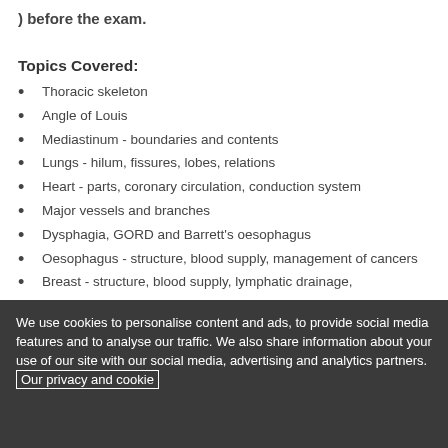) before the exam.
Topics Covered:
Thoracic skeleton
Angle of Louis
Mediastinum - boundaries and contents
Lungs - hilum, fissures, lobes, relations
Heart - parts, coronary circulation, conduction system
Major vessels and branches
Dysphagia, GORD and Barrett's oesophagus
Oesophagus - structure, blood supply, management of cancers
Breast - structure, blood supply, lymphatic drainage,
We use cookies to personalise content and ads, to provide social media features and to analyse our traffic. We also share information about your use of our site with our social media, advertising and analytics partners. Our privacy and cookie